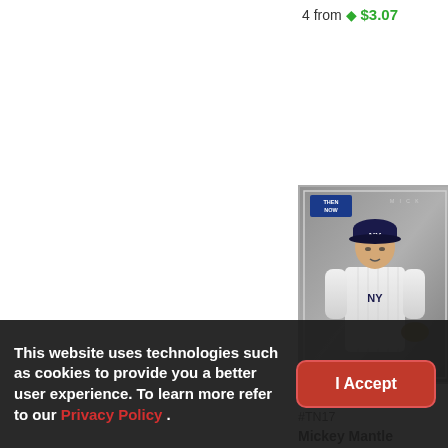4 from $3.07
[Figure (photo): Baseball card showing Mickey Mantle in New York Yankees uniform with THEN/NOW badge, 1993 Upper Deck card #TN17]
1993 Upper Deck - T
#TN17
Mickey Mantle
41 from $1.40
This website uses technologies such as cookies to provide you a better user experience. To learn more refer to our Privacy Policy .